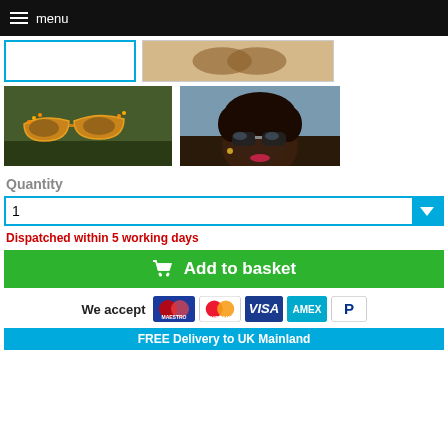menu
[Figure (photo): Product thumbnail row with two image placeholders — first with blue border selected, second showing sunglasses product image]
[Figure (photo): Two product photos side by side: left shows decorative sunglasses with orange/yellow frame on a surface with greenery; right shows a young woman with curly hair wearing dark sunglasses]
Quantity
1
Dispatched within 5 working days
Add to basket
We accept
FREE Delivery to UK Mainland